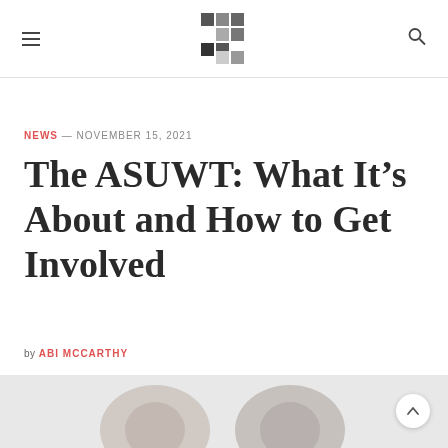[Logo: T] hamburger menu, search icon
NEWS — NOVEMBER 15, 2021
The ASUWT: What It's About and How to Get Involved
by ABI MCCARTHY
[Figure (photo): Article header photo partially visible at bottom of page]